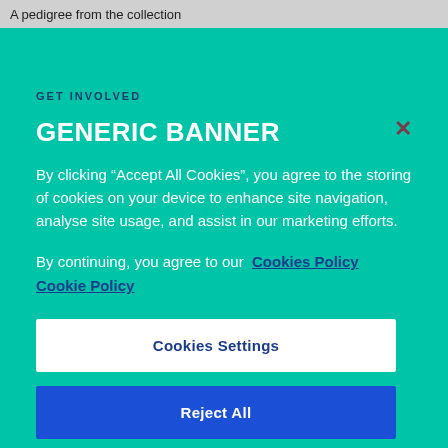A pedigree from the collection
GET INVOLVED
GENERIC BANNER
By clicking “Accept All Cookies”, you agree to the storing of cookies on your device to enhance site navigation, analyse site usage, and assist in our marketing efforts.
By continuing, you agree to our  Cookies Policy Cookie Policy
Cookies Settings
Reject All